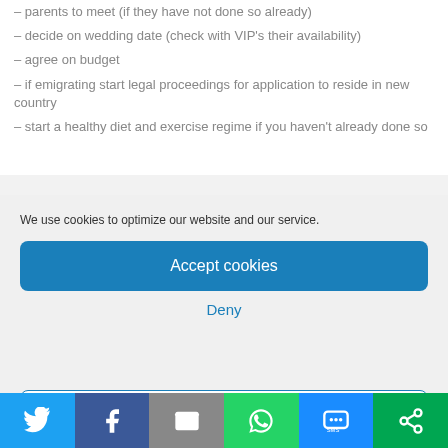– parents to meet (if they have not done so already)
– decide on wedding date (check with VIP's their availability)
– agree on budget
– if emigrating start legal proceedings for application to reside in new country
– start a healthy diet and exercise regime if you haven't already done so
We use cookies to optimize our website and our service.
Accept cookies
Deny
View preferences